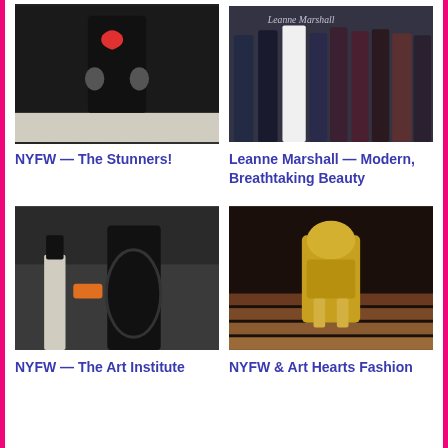[Figure (photo): Fashion runway photo showing a model in a black coat with graphic print design]
NYFW — The Stunners!
[Figure (photo): Fashion runway photo showing multiple models in evening gowns by Leanne Marshall]
Leanne Marshall — Modern, Breathtaking Beauty
[Figure (photo): Fashion show photo showing models in black outfits at NYFW Art Institute event]
NYFW — The Art Institute
[Figure (photo): Fashion photo showing a model in a gold sculptural outfit on stairs at Art Hearts Fashion]
NYFW & Art Hearts Fashion